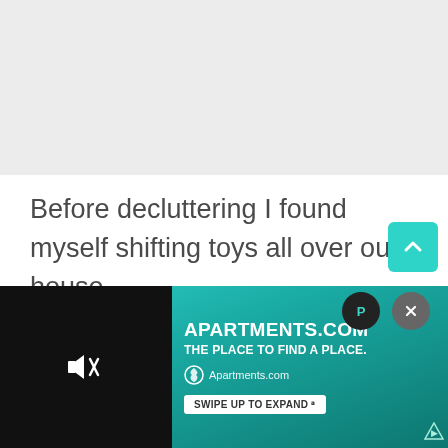[Figure (photo): Grey placeholder image area at top of page]
Before decluttering I found myself shifting toys all over our house.

I was always trying to organize in an attempt to make life easier.  No matter how many shelves or bins I had I could never get everything put away
[Figure (screenshot): APARTMENTS.COM advertisement banner at bottom. Left side shows a black video player with muted speaker icon. Right side shows the Apartments.com logo, tagline 'THE PLACE TO FIND A PLACE.', Apartments.com wordmark with recycling-style icon, and a white 'SWIPE UP TO EXPAND' button. Background is teal/dark teal gradient. Overlay buttons include a teal up-arrow scroll button, a black circle with P icon, and a grey circle with X icon.]